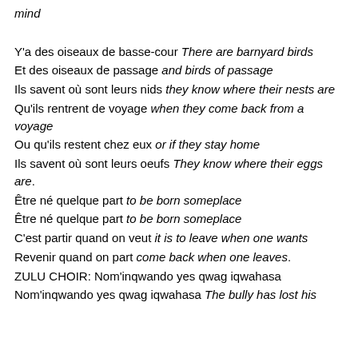mind
Y'a des oiseaux de basse-cour There are barnyard birds
Et des oiseaux de passage and birds of passage
Ils savent où sont leurs nids they know where their nests are
Qu'ils rentrent de voyage when they come back from a voyage
Ou qu'ils restent chez eux or if they stay home
Ils savent où sont leurs oeufs They know where their eggs are.
Être né quelque part to be born someplace
Être né quelque part to be born someplace
C'est partir quand on veut it is to leave when one wants
Revenir quand on part come back when one leaves.
ZULU CHOIR: Nom'inqwando yes qwag iqwahasa
Nom'inqwando yes qwag iqwahasa The bully has lost his